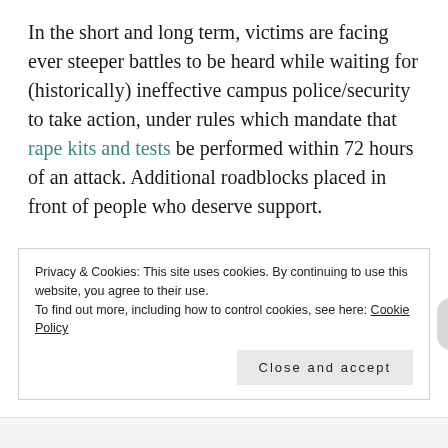In the short and long term, victims are facing ever steeper battles to be heard while waiting for (historically) ineffective campus police/security to take action, under rules which mandate that rape kits and tests be performed within 72 hours of an attack. Additional roadblocks placed in front of people who deserve support.
Remember that the man-child in the Oval Office stands in the company of Weinstein and Turner for his own aggressive and unwelcome behavior towards women.
Privacy & Cookies: This site uses cookies. By continuing to use this website, you agree to their use. To find out more, including how to control cookies, see here: Cookie Policy
Close and accept